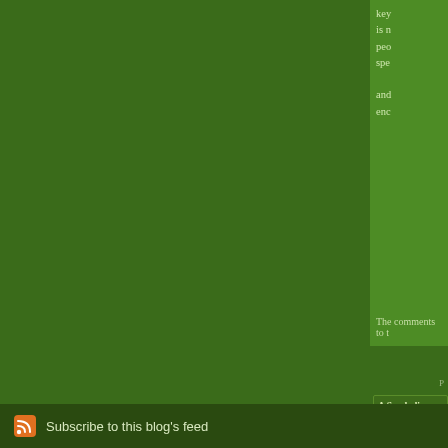key... is n... peo... spe... and... enc...
The comments to t...
P...
A Symbolic Pile-U... installment of Some... American Novel (19...
Subscribe to this blog's feed